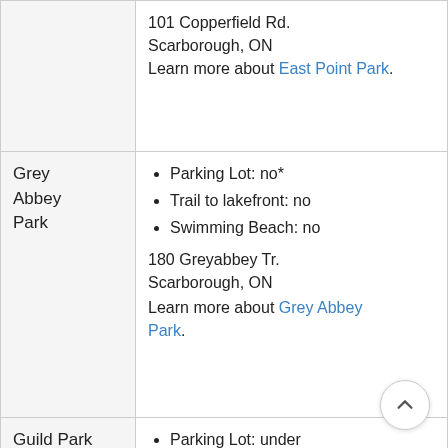| Park | Details |
| --- | --- |
| (East Point Park - continued) | 101 Copperfield Rd.
Scarborough, ON
Learn more about East Point Park. |
| Grey Abbey Park | Parking Lot: no*
Trail to lakefront: no
Swimming Beach: no
180 Greyabbey Tr.
Scarborough, ON
Learn more about Grey Abbey Park. |
| Guild Park and Gardens | Parking Lot: under construction
Trail to lakefront: under construction
Swimming Beach: no |